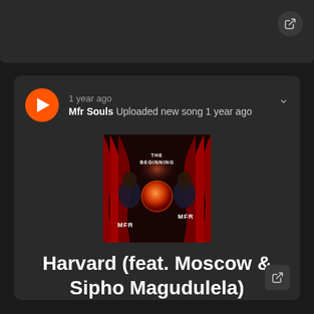[Figure (screenshot): Top dark bar section of a music streaming app]
1 year ago
Mfr Souls Uploaded new song 1 year ago
[Figure (photo): Album art for 'The Beginning' by MFR Souls showing two people in front of red curtains with a glowing orb]
Harvard (feat. Moscow & Sipho Magudulela)
5:41 · 0 Likes · 11 Plays